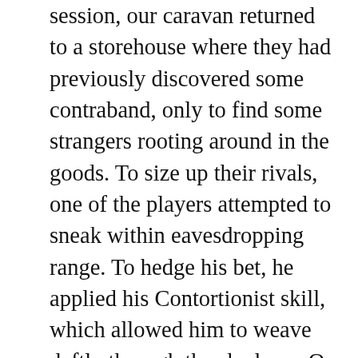session, our caravan returned to a storehouse where they had previously discovered some contraband, only to find some strangers rooting around in the goods. To size up their rivals, one of the players attempted to sneak within eavesdropping range. To hedge his bet, he applied his Contortionist skill, which allowed him to weave deftly through the shadows. Or would have, anyway, had he not failed his dice roll. Instead, he knocked over a large ewer outside the door. Out rushed the strangers, weapons drawn, demanding to know who was skulking about.